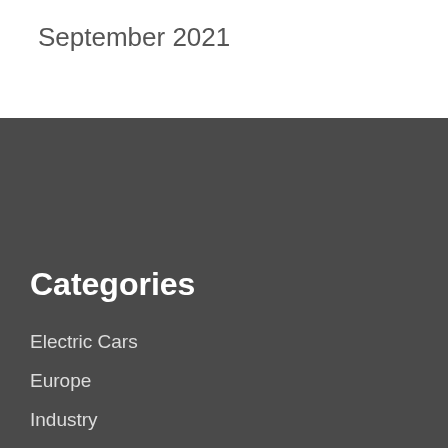September 2021
Categories
Electric Cars
Europe
Industry
Marketing
News
Offbeat
Reviews
Spy Photos